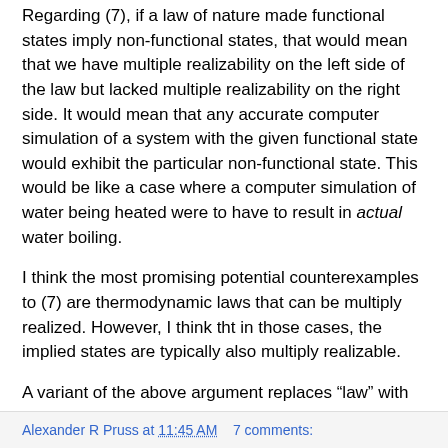Regarding (7), if a law of nature made functional states imply non-functional states, that would mean that we have multiple realizability on the left side of the law but lacked multiple realizability on the right side. It would mean that any accurate computer simulation of a system with the given functional state would exhibit the particular non-functional state. This would be like a case where a computer simulation of water being heated were to have to result in actual water boiling.
I think the most promising potential counterexamples to (7) are thermodynamic laws that can be multiply realized. However, I think tht in those cases, the implied states are typically also multiply realizable.
A variant of the above argument replaces “law” with “fundamental law”, and uses the intuition that if dualism is true, then nomic functionalism would have to have fundamental laws that relate functional states to mental states.
Alexander R Pruss at 11:45 AM    7 comments: